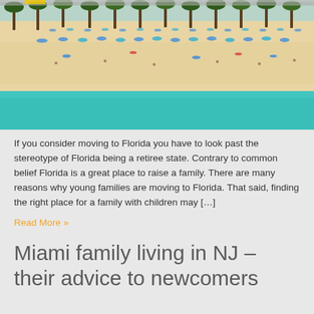[Figure (photo): Aerial view of a Florida beach with turquoise ocean water, sandy beach, colorful umbrellas, palm trees lining the shore, and beachgoers]
If you consider moving to Florida you have to look past the stereotype of Florida being a retiree state. Contrary to common belief Florida is a great place to raise a family. There are many reasons why young families are moving to Florida. That said, finding the right place for a family with children may […]
Read More »
Miami family living in NJ – their advice to newcomers